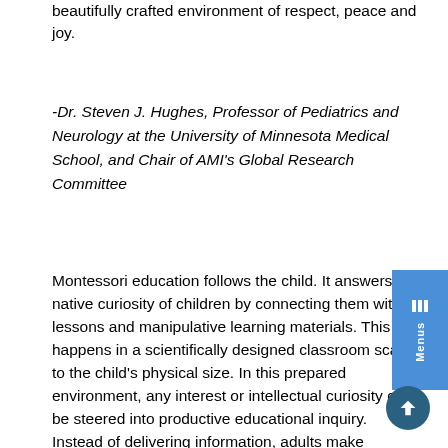beautifully crafted environment of respect, peace and joy.
-Dr. Steven J. Hughes, Professor of Pediatrics and Neurology at the University of Minnesota Medical School, and Chair of AMI's Global Research Committee
Montessori education follows the child. It answers the native curiosity of children by connecting them with lessons and manipulative learning materials. This happens in a scientifically designed classroom scaled to the child's physical size. In this prepared environment, any interest or intellectual curiosity can be steered into productive educational inquiry. Instead of delivering information, adults make continual assessments of each child's developmental readiness. From the earliest age children learn to concentrate on